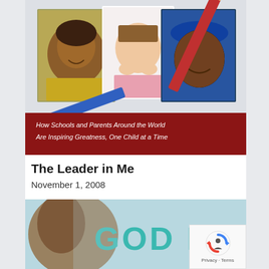[Figure (photo): Book cover of 'The Leader in Me' showing three children's photos on a white background with school supplies, and a dark red banner at the bottom with text: 'How Schools and Parents Around the World Are Inspiring Greatness, One Child at a Time']
The Leader in Me
November 1, 2008
[Figure (photo): Partial book cover showing 'GOD BLESS' text in teal letters with a blurred close-up of a child's face]